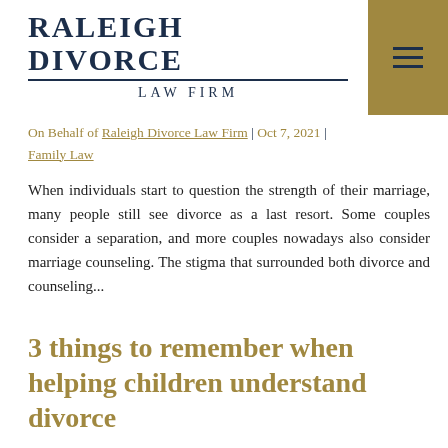RALEIGH DIVORCE LAW FIRM
On Behalf of Raleigh Divorce Law Firm | Oct 7, 2021 | Family Law
When individuals start to question the strength of their marriage, many people still see divorce as a last resort. Some couples consider a separation, and more couples nowadays also consider marriage counseling. The stigma that surrounded both divorce and counseling...
3 things to remember when helping children understand divorce